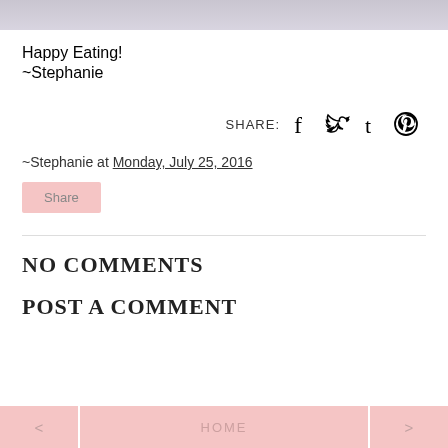[Figure (photo): Partial top of a food photo with purple/lavender tones]
Happy Eating!
~Stephanie
SHARE: [Facebook] [Twitter] [Tumblr] [Pinterest]
~Stephanie at Monday, July 25, 2016
Share
NO COMMENTS
POST A COMMENT
< HOME >